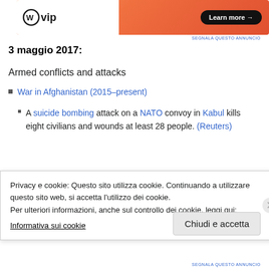[Figure (other): WordPress VIP advertisement banner with logo and 'Learn more →' button on orange gradient background]
SEGNALA QUESTO ANNUNCIO
3 maggio 2017:
Armed conflicts and attacks
War in Afghanistan (2015–present)
A suicide bombing attack on a NATO convoy in Kabul kills eight civilians and wounds at least 28 people. (Reuters)
Somali Public Works Minister Abbas Abdullahi Sheikh
Privacy e cookie: Questo sito utilizza cookie. Continuando a utilizzare questo sito web, si accetta l'utilizzo dei cookie.
Per ulteriori informazioni, anche sul controllo dei cookie, leggi qui:
Informativa sui cookie
Chiudi e accetta